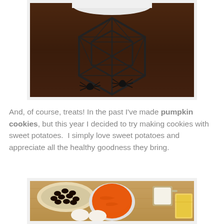[Figure (photo): A black wire spider web decorative basket/stand on a dark wooden surface, with black plastic spider figurines around its base. A white bowl or plate is partially visible at the top.]
And, of course, treats! In the past I've made pumpkin cookies, but this year I decided to try making cookies with sweet potatoes.  I simply love sweet potatoes and appreciate all the healthy goodness they bring.
[Figure (photo): A wooden cutting board with baking ingredients: a plate of dark chocolate chips, a white bowl of mashed sweet potato (orange), two eggs, a measuring cup of flour, and a stick of butter.]